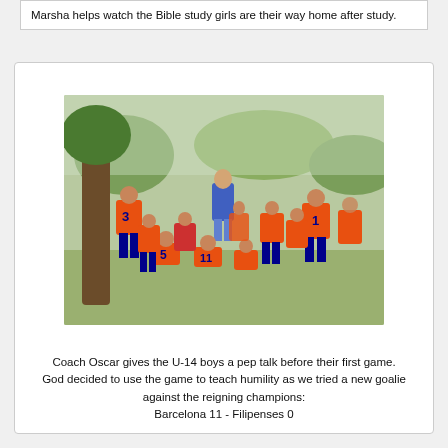Marsha helps watch the Bible study girls are their way home after study.
[Figure (photo): Coach Oscar giving a pep talk to a group of U-14 boys in orange soccer jerseys, gathered outdoors near a tree before their first game.]
Coach Oscar gives the U-14 boys a pep talk before their first game. God decided to use the game to teach humility as we tried a new goalie against the reigning champions: Barcelona 11 - Filipenses 0